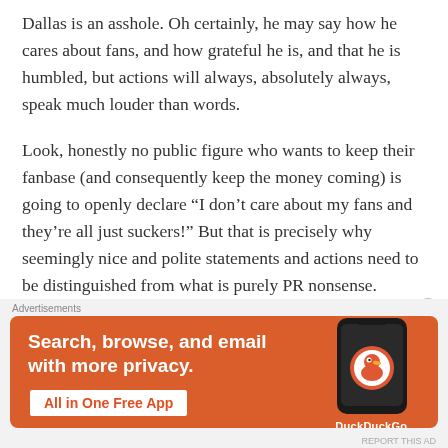Dallas is an asshole. Oh certainly, he may say how he cares about fans, and how grateful he is, and that he is humbled, but actions will always, absolutely always, speak much louder than words.
Look, honestly no public figure who wants to keep their fanbase (and consequently keep the money coming) is going to openly declare “I don’t care about my fans and they’re all just suckers!” But that is precisely why seemingly nice and polite statements and actions need to be distinguished from what is purely PR nonsense. Anyone who still believes there is not a discrepancy between how celebrities act and speak in public versus how they are in private should please stop
Advertisements
[Figure (other): DuckDuckGo advertisement banner with orange background. Text reads: 'Search, browse, and email with more privacy. All in One Free App'. Shows a smartphone with DuckDuckGo logo and the text 'DuckDuckGo.' at bottom right.]